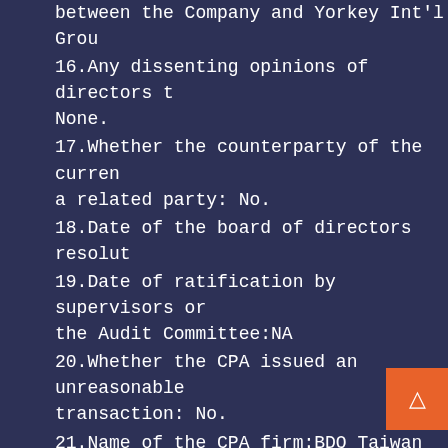between the Company and Yorkey Int'l Grou
16.Any dissenting opinions of directors t
None.
17.Whether the counterparty of the curren a related party: No.
18.Date of the board of directors resolut
19.Date of ratification by supervisors or the Audit Committee:NA
20.Whether the CPA issued an unreasonable transaction: No.
21.Name of the CPA firm:BDO Taiwan Joint
22.Name of the CPA:George Chou (Chou, Chi
23.Practice certificate number of the CPA License No. 3209
24.Whether the transaction involved in ch
25.Details on change of business model: N
26.Details on transactions with the count expected coming year: None.
27.Source of funds: Bank financing.